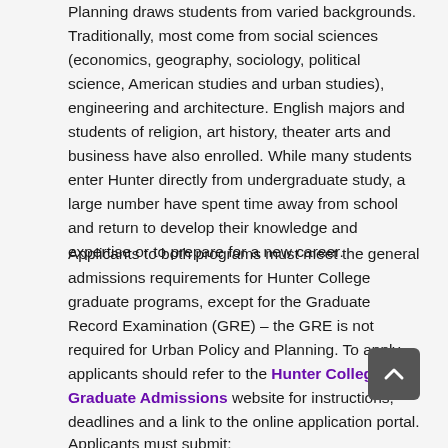Planning draws students from varied backgrounds. Traditionally, most come from social sciences (economics, geography, sociology, political science, American studies and urban studies), engineering and architecture. English majors and students of religion, art history, theater arts and business have also enrolled. While many students enter Hunter directly from undergraduate study, a large number have spent time away from school and return to develop their knowledge and expertise or to prepare for a new career.
Applicants to both programs must meet the general admissions requirements for Hunter College graduate programs, except for the Graduate Record Examination (GRE) – the GRE is not required for Urban Policy and Planning. To apply, applicants should refer to the Hunter College Graduate Admissions website for instructions, deadlines and a link to the online application portal.
Applicants must submit: